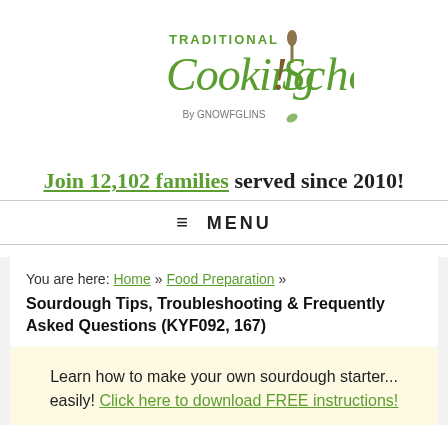[Figure (logo): Traditional Cooking School by GNOWFGLINS logo with green text and a spoon icon]
Join 12,102 families served since 2010!
≡ MENU
You are here: Home » Food Preparation »
Sourdough Tips, Troubleshooting & Frequently Asked Questions (KYF092, 167)
Learn how to make your own sourdough starter... easily! Click here to download FREE instructions!